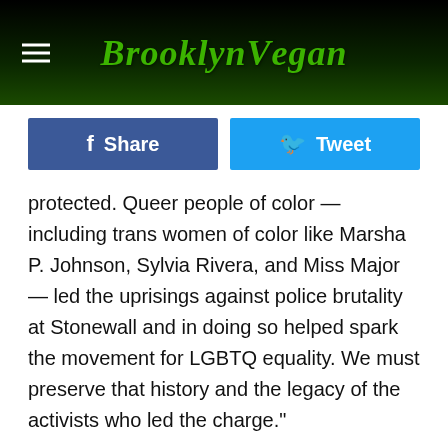BrooklynVegan
Share  Tweet
protected. Queer people of color — including trans women of color like Marsha P. Johnson, Sylvia Rivera, and Miss Major — led the uprisings against police brutality at Stonewall and in doing so helped spark the movement for LGBTQ equality. We must preserve that history and the legacy of the activists who led the charge."
Stonewall Inn co-owners Stacy Lentz and Kurt Kelly said in a statement, "As the first and only LGBTQ National Monument, Stonewall is home not only to the history of our